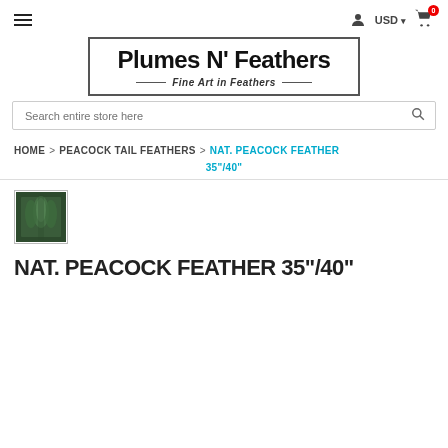Plumes N' Feathers — Fine Art in Feathers
Search entire store here
HOME > PEACOCK TAIL FEATHERS > NAT. PEACOCK FEATHER 35"/40"
[Figure (photo): Small thumbnail image of a bundle of natural peacock feathers]
NAT. PEACOCK FEATHER 35"/40"